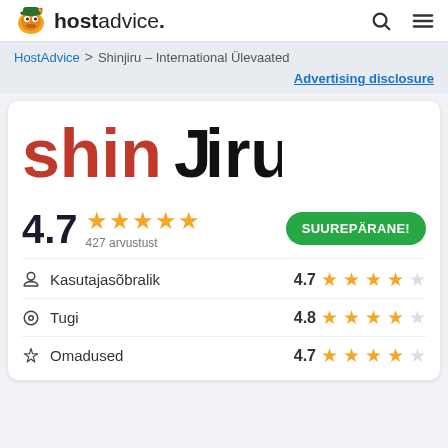hostadvice. [search] [menu]
HostAdvice > Shinjiru – International Ülevaated
Advertising disclosure
[Figure (logo): Shinjiru logo with red and black text]
4.7 ★★★★★ 427 arvustust   SUUREPÄRANE!
Kasutajasõbralik  4.7 ★★★★★
Tugi  4.8 ★★★★★
Omadused  4.7 ★★★★★